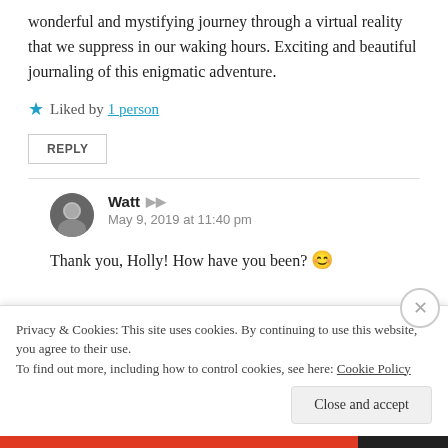wonderful and mystifying journey through a virtual reality that we suppress in our waking hours. Exciting and beautiful journaling of this enigmatic adventure.
★ Liked by 1 person
REPLY
Watt
May 9, 2019 at 11:40 pm
Thank you, Holly! How have you been? 😊
Privacy & Cookies: This site uses cookies. By continuing to use this website, you agree to their use. To find out more, including how to control cookies, see here: Cookie Policy
Close and accept